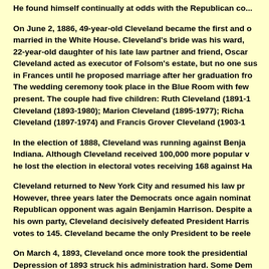He found himself continually at odds with the Republican co...
On June 2, 1886, 49-year-old Cleveland became the first and only president to be married in the White House. Cleveland's bride was his ward, Frances Folsom, the 22-year-old daughter of his late law partner and friend, Oscar Folsom. Cleveland acted as executor of Folsom's estate, but no one suspected his interest in Frances until he proposed marriage after her graduation from Wells College. The wedding ceremony took place in the Blue Room with few guests present. The couple had five children: Ruth Cleveland (1891-1904); Esther Cleveland (1893-1980); Marion Cleveland (1895-1977); Richard Folsom Cleveland (1897-1974) and Francis Grover Cleveland (1903-1995).
In the election of 1888, Cleveland was running against Benjamin Harrison of Indiana. Although Cleveland received 100,000 more popular votes than Harrison, he lost the election in electoral votes receiving 168 against Harrison's 233.
Cleveland returned to New York City and resumed his law practice. However, three years later the Democrats once again nominated him. His Republican opponent was again Benjamin Harrison. Despite some opposition from his own party, Cleveland decisively defeated President Harrison by 277 electoral votes to 145. Cleveland became the only President to be reelected after losing.
On March 4, 1893, Cleveland once more took the presidential oath of office. The Depression of 1893 struck his administration hard. Some Democrats saw salvation in free coinage of silver, but Cleveland was able to push through the repeal the Sherman Silver Purchase Act in an effort to improve...